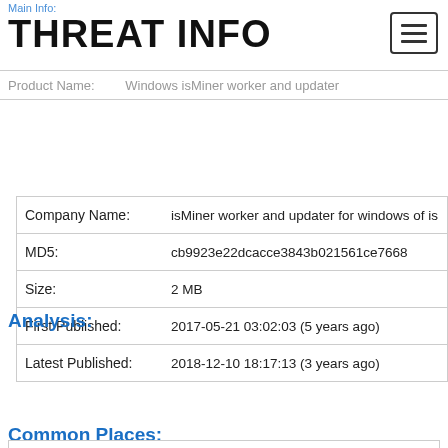Main Info:
THREAT INFO
| Field | Value |
| --- | --- |
| Product Name: | Windows isMiner worker and updater |
| Company Name: | isMiner worker and updater for windows of is |
| MD5: | cb9923e22dcacce3843b021561ce7668 |
| Size: | 2 MB |
| First Published: | 2017-05-21 03:02:03 (5 years ago) |
| Latest Published: | 2018-12-10 18:17:13 (3 years ago) |
Analysis:
| Field | Value |
| --- | --- |
| Status: | Trojan.Gen (on last analysis) |
| Analysis Date: | 2018-12-10 18:17:13 (3 years ago) |
Common Places: